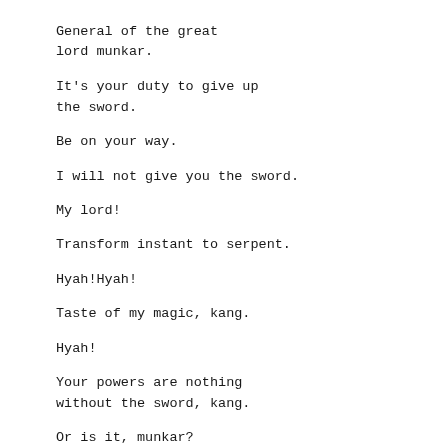General of the great lord munkar.
It's your duty to give up the sword.
Be on your way.
I will not give you the sword.
My lord!
Transform instant to serpent.
Hyah!Hyah!
Taste of my magic, kang.
Hyah!
Your powers are nothing without the sword, kang.
Or is it, munkar?